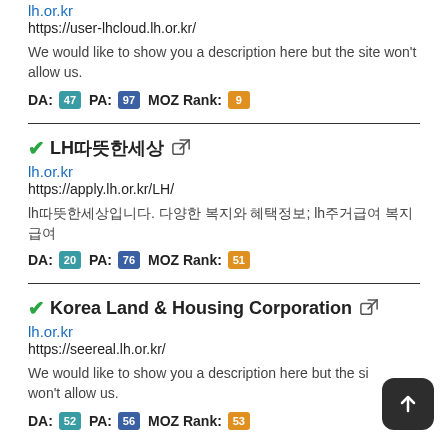lh.or.kr
https://user-lhcloud.lh.or.kr/
We would like to show you a description here but the site won't allow us.
DA: 47 PA: 97 MOZ Rank: 9
LH따뜻한세상
lh.or.kr
https://apply.lh.or.kr/LH/
lh따뜻한세상입니다. 다양한 복지와 혜택정보; lh주거급여 복지급여
DA: 20 PA: 76 MOZ Rank: 51
Korea Land & Housing Corporation
lh.or.kr
https://seereal.lh.or.kr/
We would like to show you a description here but the site won't allow us.
DA: 52 PA: 56 MOZ Rank: 53